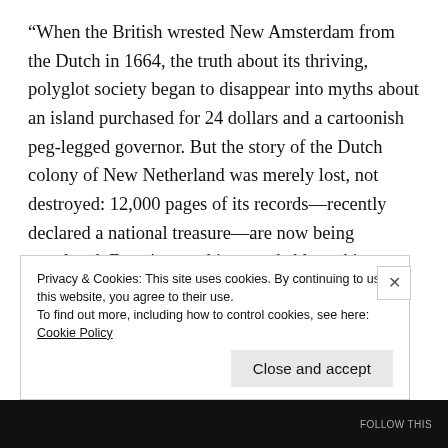“When the British wrested New Amsterdam from the Dutch in 1664, the truth about its thriving, polyglot society began to disappear into myths about an island purchased for 24 dollars and a cartoonish peg-legged governor. But the story of the Dutch colony of New Netherland was merely lost, not destroyed: 12,000 pages of its records—recently declared a national treasure—are now being translated. Drawing on this remarkable archive, Russell Shorto has created a gripping narrative—a story of global sweep centered on a wilderness called Manhattan—that transforms our
Privacy & Cookies: This site uses cookies. By continuing to use this website, you agree to their use.
To find out more, including how to control cookies, see here: Cookie Policy
Close and accept